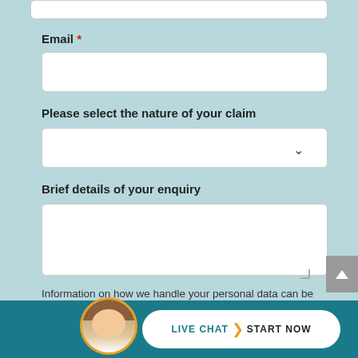Email *
[Figure (other): Email text input field (white rounded rectangle)]
Please select the nature of your claim
[Figure (other): Dropdown select field with chevron arrow]
Brief details of your enquiry
[Figure (other): Textarea input field (white rounded rectangle with resize handle)]
Information on how we handle your personal data can be found in our Privacy Policy
[Figure (other): Live chat bar at bottom with avatar photo, LIVE CHAT > START NOW button on teal background]